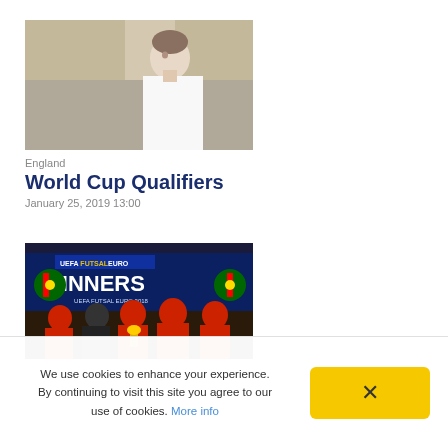[Figure (photo): Man in white shirt looking to the side, indoor sports venue background]
England
World Cup Qualifiers
January 25, 2019 13:00
[Figure (photo): UEFA Futsal Euro 2018 winners banner with Portugal flag and players celebrating]
We use cookies to enhance your experience. By continuing to visit this site you agree to our use of cookies. More info